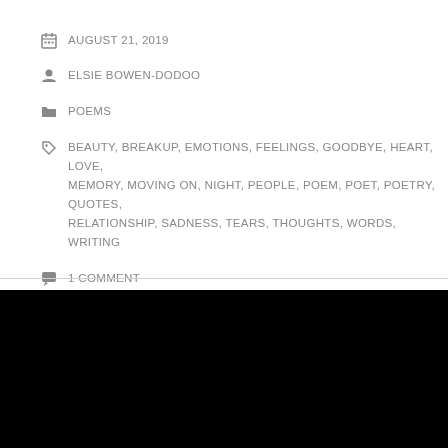AUGUST 21, 2019
ELSIE BOWEN-DODOO
POEMS
BEAUTY, BREAKUP, EMOTIONS, FEELINGS, GOODBYE, HEART, LOVE, MEMORY, MOVING ON, NIGHT, PEOPLE, POEM, POET, POETRY, QUOTES, RELATIONSHIP, SADNESS, TEARS, THOUGHTS, WORDS, WRITING
1 COMMENT